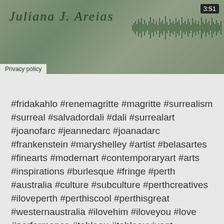[Figure (screenshot): Video thumbnail showing a handwritten signature 'Juliana J. Areias' over a green/nature background with audio waveform, timer showing 3:51, and Privacy policy label at bottom left]
Privacy policy
#fridakahlo #renemagritte #magritte #surrealism #surreal #salvadordali #dali #surrealart #joanofarc #jeannedarc #joanadarc #frankenstein #maryshelley #artist #belasartes #finearts #modernart #contemporaryart #arts #inspirations #burlesque #fringe #perth #australia #culture #subculture #perthcreatives #iloveperth #perthiscool #perthisgreat #westernaustralia #ilovehim #iloveyou #love #performance #tableau #tableauvivant #bossanovababycd #julianaareias #geoffreydrakebrockman #beautifulcouple #westernaustralia